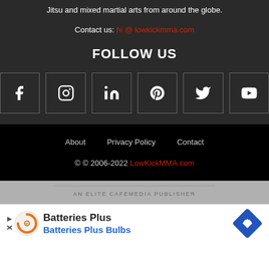Jitsu and mixed martial arts from around the globe.
Contact us: hi @ lowkickmma.com
FOLLOW US
[Figure (infographic): Six social media icon buttons in bordered squares: Facebook, Instagram, LinkedIn, Pinterest, Twitter, YouTube]
About   Privacy Policy   Contact
© © 2006-2022 LowKickMMA.com
AN ELITE CAFEMEDIA PUBLISHER
[Figure (infographic): Advertisement banner for Batteries Plus / Batteries Plus Bulbs with orange logo circle and green plus sign, play/close icons on left, blue diamond navigation icon on right]